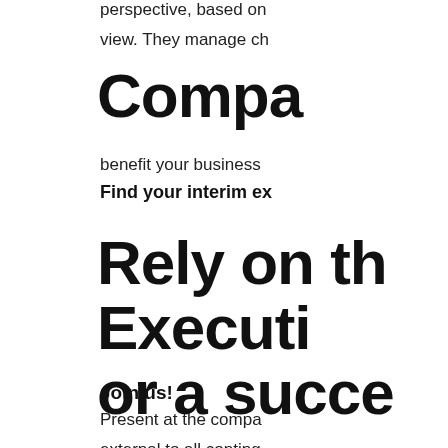perspective, based on
view. They manage ch
Compa
benefit your business
Find your interim ex
Rely on th
Executi
or a succe
Join us!
Present at the compa
external to all conting
Contac
acts in the interest of
Nous utilisons des cookie expérience sur notre site web nous supposerons
J'accepte
Non
→ Entreprises
Contextes d'interventio
Secteurs